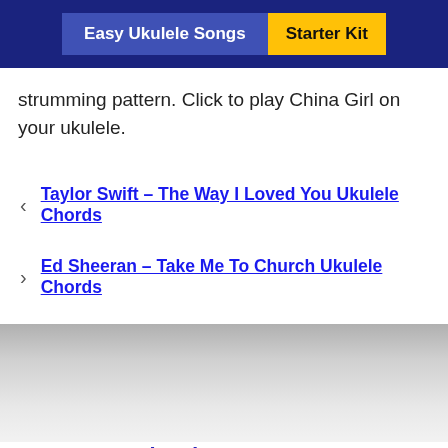Easy Ukulele Songs | Starter Kit
strumming pattern. Click to play China Girl on your ukulele.
Taylor Swift – The Way I Loved You Ukulele Chords
Ed Sheeran – Take Me To Church Ukulele Chords
Chords By Genre